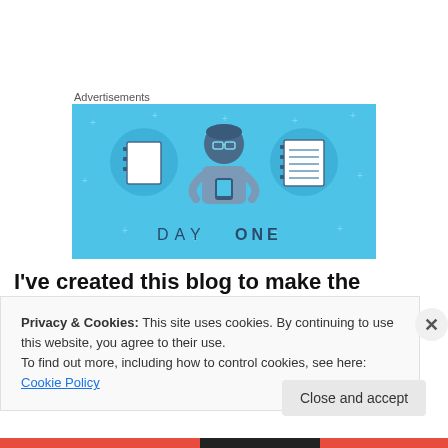Advertisements
[Figure (illustration): Day One app advertisement banner with blue background showing a person holding a phone flanked by notebook icons, with text DAY ONE at the bottom]
I've created this blog to make the hunt for Konzen
Privacy & Cookies: This site uses cookies. By continuing to use this website, you agree to their use.
To find out more, including how to control cookies, see here: Cookie Policy
Close and accept